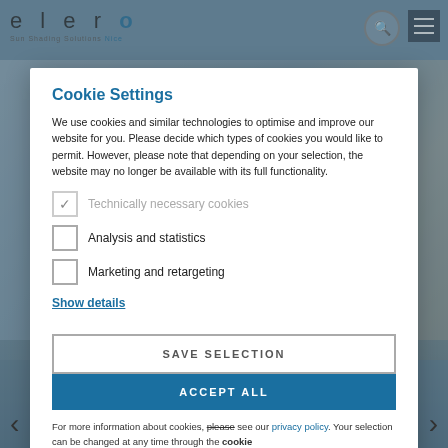elero — Sun Shading Solutions, Nice
Cookie Settings
We use cookies and similar technologies to optimise and improve our website for you. Please decide which types of cookies you would like to permit. However, please note that depending on your selection, the website may no longer be available with its full functionality.
✓ Technically necessary cookies
☐ Analysis and statistics
☐ Marketing and retargeting
Show details
SAVE SELECTION
ACCEPT ALL
For more information about cookies, please see our privacy policy. Your selection can be changed at any time through the cookie
Greater living